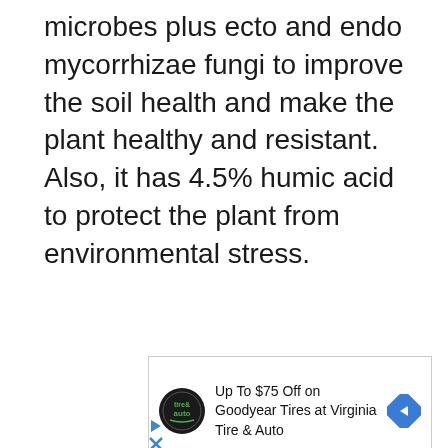microbes plus ecto and endo mycorrhizae fungi to improve the soil health and make the plant healthy and resistant. Also, it has 4.5% humic acid to protect the plant from environmental stress.
[Figure (other): Advertisement banner for Virginia Tire & Auto offering up to $75 off on Goodyear Tires, with Tire & Auto logo and navigation arrow icon.]